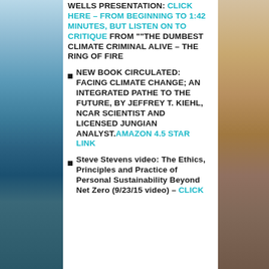WELLS PRESENTATION: CLICK HERE – FROM BEGINNING TO 1:42 MINUTES, BUT LISTEN ON TO CRITIQUE FROM ""THE DUMBEST CLIMATE CRIMINAL ALIVE – THE RING OF FIRE
NEW BOOK CIRCULATED: FACING CLIMATE CHANGE; AN INTEGRATED PATHE TO THE FUTURE, BY JEFFREY T. KIEHL, NCAR SCIENTIST AND LICENSED JUNGIAN ANALYST. AMAZON 4.5 STAR LINK
Steve Stevens video: The Ethics, Principles and Practice of Personal Sustainability Beyond Net Zero (9/23/15 video) – click